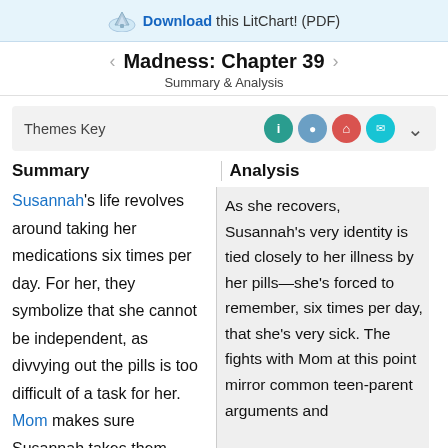Download this LitChart! (PDF)
Madness: Chapter 39
Summary & Analysis
Themes Key
Summary
Analysis
Susannah's life revolves around taking her medications six times per day. For her, they symbolize that she cannot be independent, as divvying out the pills is too difficult of a task for her. Mom makes sure Susannah takes them,
As she recovers, Susannah's very identity is tied closely to her illness by her pills—she's forced to remember, six times per day, that she's very sick. The fights with Mom at this point mirror common teen-parent arguments and